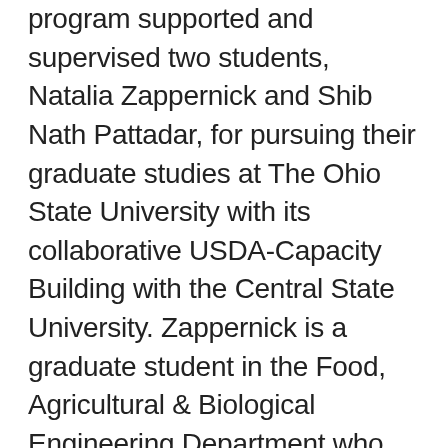program supported and supervised two students, Natalia Zappernick and Shib Nath Pattadar, for pursuing their graduate studies at The Ohio State University with its collaborative USDA-Capacity Building with the Central State University. Zappernick is a graduate student in the Food, Agricultural & Biological Engineering Department who completed MS degree in December 2020. Her research was focused on techno-economic analysis of a tilapia-lettuce aquaponics system, using data from both OSU and Central State University.